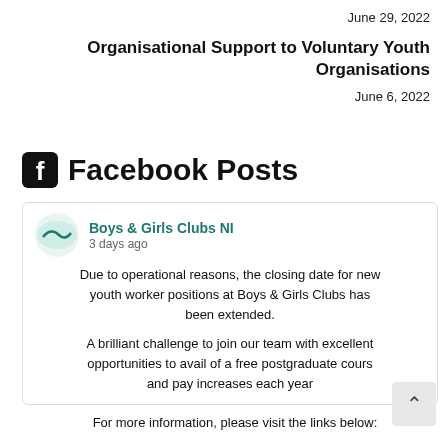June 29, 2022
Organisational Support to Voluntary Youth Organisations
June 6, 2022
Facebook Posts
Boys & Girls Clubs NI
3 days ago
Due to operational reasons, the closing date for new youth worker positions at Boys & Girls Clubs has been extended.
A brilliant challenge to join our team with excellent opportunities to avail of a free postgraduate cours and pay increases each year
For more information, please visit the links below: